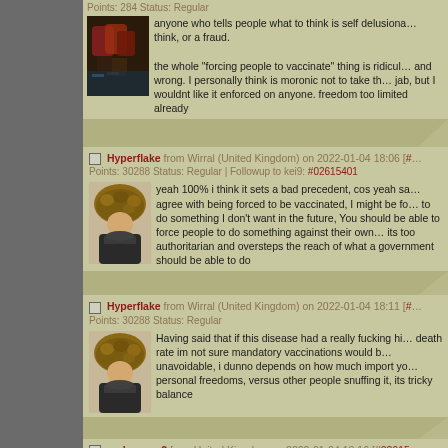Points: 284 Status: Regular
[Figure (photo): Dark reddish abstract photo, possibly chairs or objects]
anyone who tells people what to think is self delusional think, or a fraud.

the whole "forcing people to vaccinate" thing is ridiculous and wrong. I personally think is moronic not to take the jab, but I wouldnt like it enforced on anyone. freedom too limited already
Hyperflake from Wirral (United Kingdom) on 2022-01-04 18:06 [#...]
Points: 30288 Status: Regular | Followup to kei9: #02615401
[Figure (photo): Person wearing a large fluffy brown fur hat and dark coat]
yeah 100% i think it sets a bad precedent, cos yeah say agree with being forced to be vaccinated, I might be forced to do something I don't want in the future, You should be able to force people to do something against their own its too authoritarian and oversteps the reach of what a government should be able to do
Hyperflake from Wirral (United Kingdom) on 2022-01-04 18:11 [#...]
Points: 30288 Status: Regular
[Figure (photo): Person wearing a large fluffy brown fur hat and dark coat]
Having said that if this disease had a really fucking high death rate im not sure mandatory vaccinations would be unavoidable, i dunno depends on how much import you personal freedoms, versus other people snuffing it, its tricky balance
umbroman3 from United Kingdom on 2022-01-04 18:16 [#02615...]
Points: 5871 Status: Jumbee